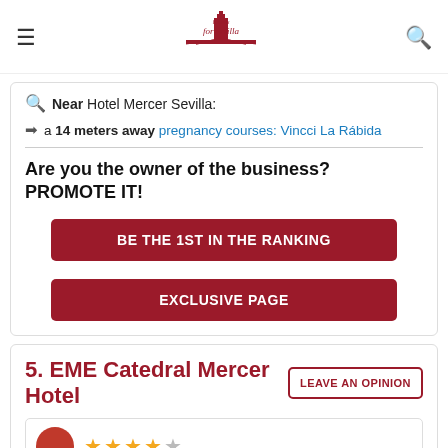For Sevilla Lovers
Near Hotel Mercer Sevilla:
a 14 meters away pregnancy courses: Vincci La Rábida
Are you the owner of the business? PROMOTE IT!
BE THE 1ST IN THE RANKING
EXCLUSIVE PAGE
5. EME Catedral Mercer Hotel
LEAVE AN OPINION